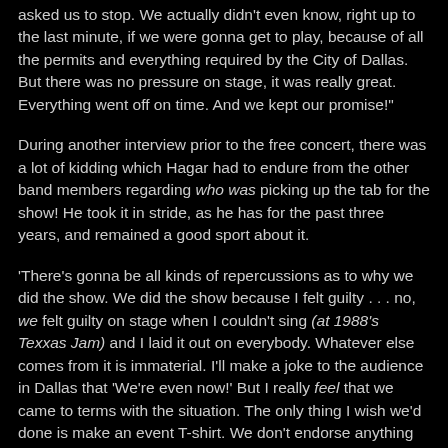asked us to stop. We actually didn't even know, right up to the last minute, if we were gonna get to play, because of all the permits and everything required by the City of Dallas. But there was no pressure on stage, it was really great. Everything went off on time. And we kept our promise!"
During another interview prior to the free concert, there was a lot of kidding which Hagar had to endure from the other band members regarding who was picking up the tab for the show! He took it in stride, as he has for the past three years, and remained a good sport about it.
'There's gonna be all kinds of repercussions as to why we did the show. We did the show because I felt guilty . . . no, we felt guilty on stage when I couldn't sing (at 1988's Texxas Jam) and I laid it out on everybody. Whatever else comes from it is immaterial. I'll make a joke to the audience in Dallas that 'We're even now!' But I really feel that we came to terms with the situation. The only thing I wish we'd done is make an event T-shirt. We don't endorse anything —but in hindsight —I wish we'd have endorsed someone who would have given away a T-shirt. But as it is, everyone who